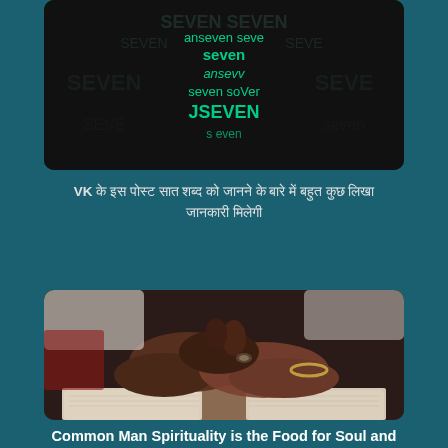[Figure (photo): Dark background with glowing green text reading 'SEVEN' in various fonts and orientations, forming a typographic art composition]
VK के इस पोस्ट सात शब्द को जानने के बारे में बहुत कुछ लिखा जानकारी मिलेगी
[Figure (photo): Close-up of hands clasped together over an open book/Bible, with a gold bracelet visible on one wrist]
Common Man Spirituality is the Food for Soul and